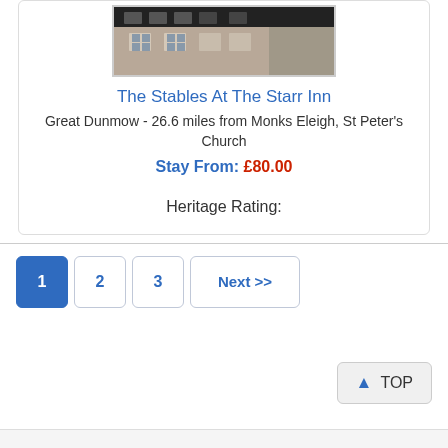[Figure (photo): Exterior photo of The Stables At The Starr Inn building]
The Stables At The Starr Inn
Great Dunmow - 26.6 miles from Monks Eleigh, St Peter's Church
Stay From: £80.00
Heritage Rating:
1  2  3  Next >>